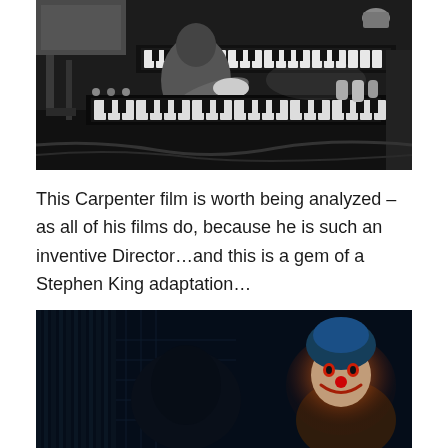[Figure (photo): Black and white photograph of a person playing a keyboard/synthesizer in a recording studio setting, with various equipment visible]
This Carpenter film is worth being analyzed – as all of his films do, because he is such an inventive Director…and this is a gem of a Stephen King adaptation…
[Figure (photo): Dark horror film still showing a clown (Pennywise) with glowing orange light in a dark scene, appearing to be from an IT adaptation]